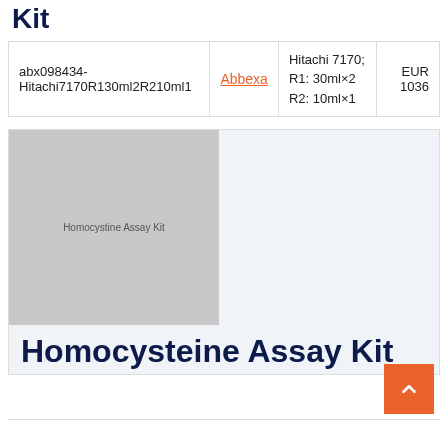Kit
| Catalog | Supplier | Specs | Price |
| --- | --- | --- | --- |
| abx098434-Hitachi7170R130ml2R210ml1 | Abbexa | Hitachi 7170; R1: 30ml×2 R2: 10ml×1 | EUR 1036 |
[Figure (photo): Homocysteine Assay Kit product image placeholder (gray)]
Homocysteine Assay Kit